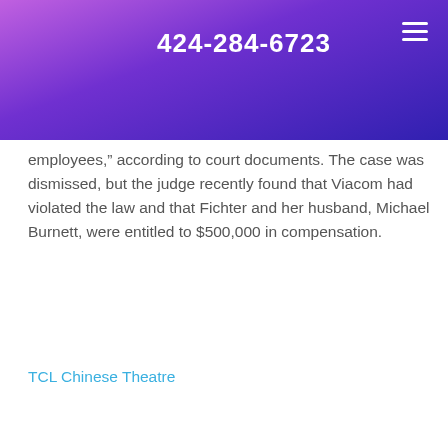424-284-6723
employees,” according to court documents. The case was dismissed, but the judge recently found that Viacom had violated the law and that Fichter and her husband, Michael Burnett, were entitled to $500,000 in compensation.
TCL Chinese Theatre